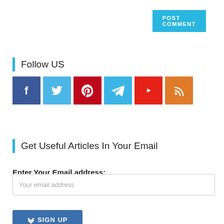POST COMMENT
Follow US
[Figure (infographic): Row of 6 social media icon buttons: Facebook (dark blue), Twitter (light blue), Pinterest (dark red), Telegram (blue), YouTube (red), RSS (orange)]
Get Useful Articles In Your Email
Enter Your Email address:
Your email address
SIGN UP